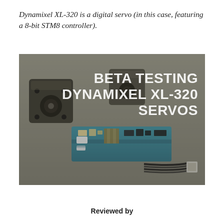Dynamixel XL-320 is a digital servo (in this case, featuring a 8-bit STM8 controller).
[Figure (photo): Photo of two Dynamixel XL-320 servo motors (small cube-shaped, dark/transparent casing) in the upper left, a blue circuit board (control board with connectors and components) in the center, and a black multi-wire cable with connector in the lower right. The image has overlaid bold white text reading 'BETA TESTING DYNAMIXEL XL-320 SERVOS' on the right side. Background is a gray-beige surface.]
Reviewed by